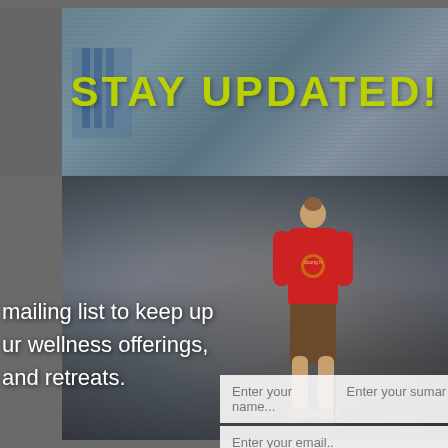STAY UPDATED!
[Figure (photo): Background photo of a person in a red jacket standing in a rocky mountain landscape, viewed from behind]
mailing list to keep up ur wellness offerings, and retreats.
Enter your name...
Enter your sumar...
Enter your email..
SIGN UP